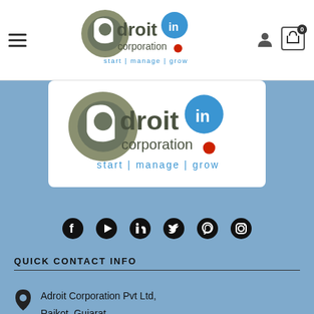[Figure (logo): Adroit Corporation logo in navigation bar - adroit.in corporation with tagline start | manage | grow]
[Figure (logo): Adroit Corporation logo card on blue background - adroit.in corporation with tagline start | manage | grow]
[Figure (infographic): Social media icons row: Facebook, YouTube, LinkedIn, Twitter, WhatsApp, Instagram]
QUICK CONTACT INFO
Adroit Corporation Pvt Ltd, Rajkot, Gujarat